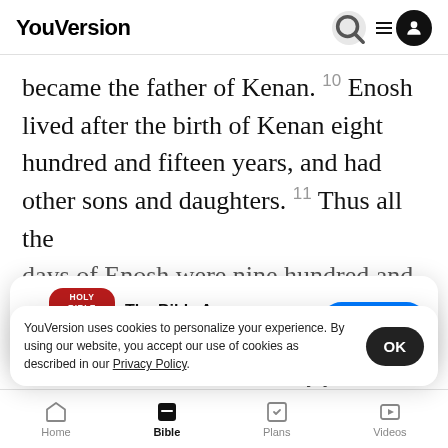YouVersion
became the father of Kenan. 10 Enosh lived after the birth of Kenan eight hundred and fifteen years, and had other sons and daughters. 11 Thus all the days of Enosh were nine hundred and five years:
[Figure (screenshot): App download banner for The Bible App with Holy Bible icon, 5 star rating, 7.9M reviews, and Download button]
When Kenan had lived seventy years, he became the father of... after th...
YouVersion uses cookies to personalize your experience. By using our website, you accept our use of cookies as described in our Privacy Policy.
Home   Bible   Plans   Videos